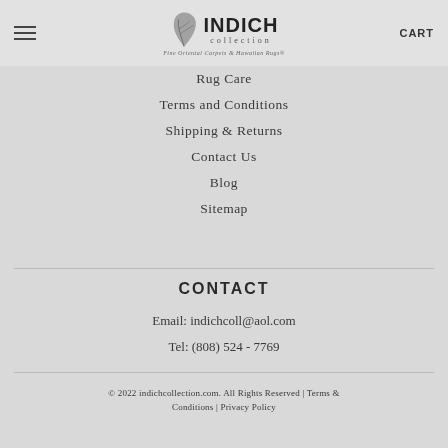INDICH collection | Fine Oriental Carpets & Hawaiian Rugs® | CART
Rug Care
Terms and Conditions
Shipping & Returns
Contact Us
Blog
Sitemap
CONTACT
Email: indichcoll@aol.com
Tel: (808) 524 - 7769
© 2022 indichcollection.com. All Rights Reserved | Terms & Conditions | Privacy Policy